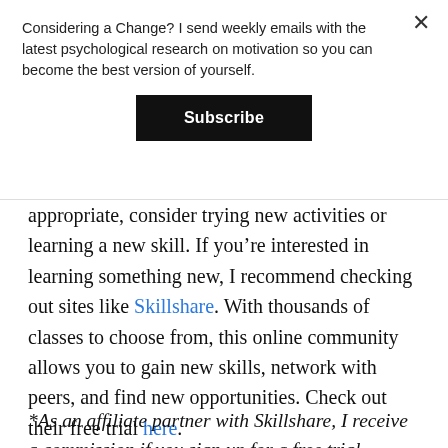Considering a Change? I send weekly emails with the latest psychological research on motivation so you can become the best version of yourself.
Subscribe
appropriate, consider trying new activities or learning a new skill. If you're interested in learning something new, I recommend checking out sites like Skillshare. With thousands of classes to choose from, this online community allows you to gain new skills, network with peers, and find new opportunities. Check out their free trial here.
*As an affiliate partner with Skillshare, I receive a commission if you sign up for a free trial.